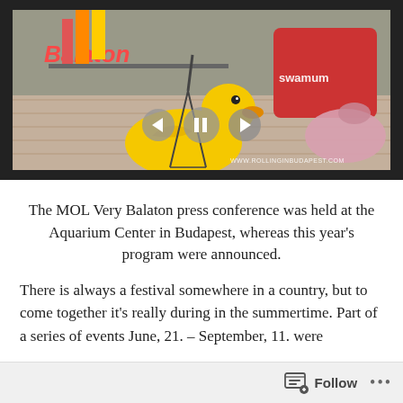[Figure (photo): Video screenshot of a Balaton press conference venue showing large inflatable rubber duck and flamingo pool floats on a wooden floor, with a red display box branded 'swamum' and a neon 'Balaton' sign, with video playback controls overlaid and watermark 'WWW.ROLLINGINBUDAPEST.COM']
The MOL Very Balaton press conference was held at the Aquarium Center in Budapest, whereas this year's program were announced.
There is always a festival somewhere in a country, but to come together it's really during in the summertime. Part of a series of events June, 21. – September, 11. were
Follow ...